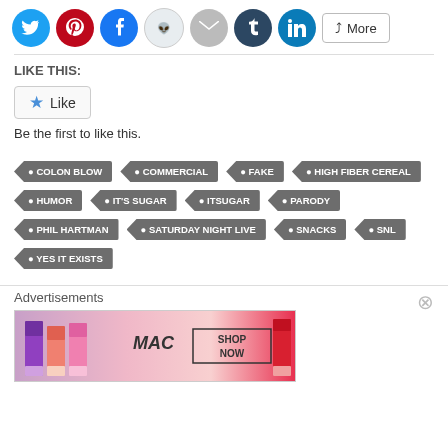[Figure (screenshot): Social media share buttons: Twitter (blue), Pinterest (red), Facebook (blue), Reddit (light blue), Email (gray), Tumblr (dark blue), LinkedIn (blue), and a More button]
LIKE THIS:
Like
Be the first to like this.
COLON BLOW
COMMERCIAL
FAKE
HIGH FIBER CEREAL
HUMOR
IT'S SUGAR
ITSUGAR
PARODY
PHIL HARTMAN
SATURDAY NIGHT LIVE
SNACKS
SNL
YES IT EXISTS
Advertisements
[Figure (photo): MAC Cosmetics advertisement showing lipsticks in purple, pink, coral colors with MAC logo and SHOP NOW button]